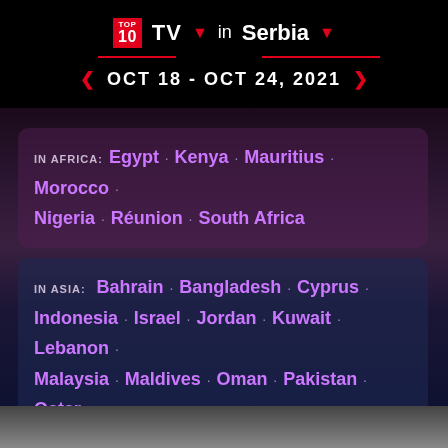TOP 10 TV in Serbia — OCT 18 - OCT 24, 2021
IN AFRICA: Egypt · Kenya · Mauritius · Morocco · Nigeria · Réunion · South Africa
IN ASIA: Bahrain · Bangladesh · Cyprus · Indonesia · Israel · Jordan · Kuwait · Lebanon · Malaysia · Maldives · Oman · Pakistan · Qatar · Saudi Arabia · Sri Lanka · Turkey · United Arab Emirates
IN OCEANIA: New Caledonia